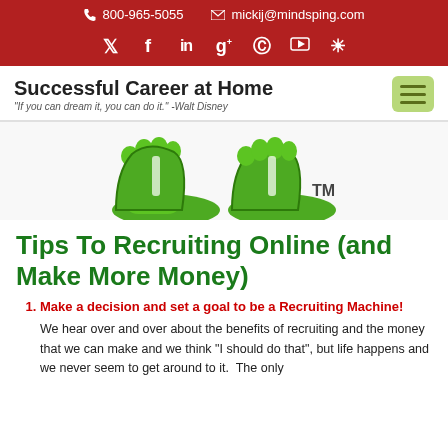📞 800-965-5055   ✉ mickij@mindsping.com
Social icons: Twitter, Facebook, LinkedIn, Google+, Pinterest, YouTube, Instagram
Successful Career at Home
"If you can dream it, you can do it." -Walt Disney
[Figure (illustration): Cartoon green feet with TM symbol, partially cropped at top of content area]
Tips To Recruiting Online (and Make More Money)
Make a decision and set a goal to be a Recruiting Machine!
We hear over and over about the benefits of recruiting and the money that we can make and we think "I should do that", but life happens and we never seem to get around to it.  The only